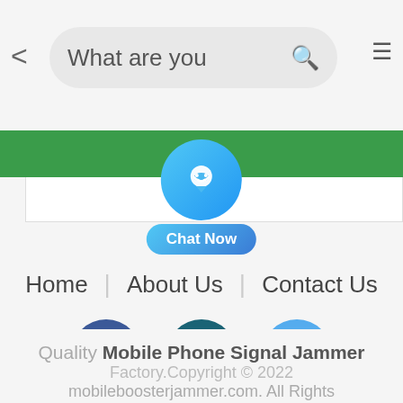[Figure (screenshot): Mobile browser screenshot showing a search bar with text 'What are you', a back arrow, search icon, and menu icon on a light grey background.]
Home | About Us | Contact Us
Chat Now
[Figure (screenshot): Social media icons: Facebook, LinkedIn, Twitter]
Quality Mobile Phone Signal Jammer Factory.Copyright © 2022 mobileboosterjammer.com. All Rights Reserved.